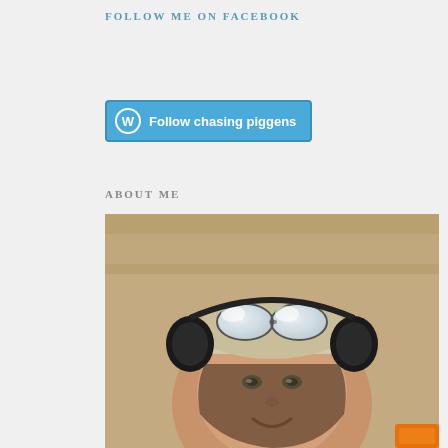FOLLOW ME ON FACEBOOK
[Figure (screenshot): WordPress 'Follow chasing piggens' button with circular W logo on blue/teal background]
ABOUT ME
[Figure (photo): Selfie of a young woman wearing a white cap, mirrored sunglasses on top of her head, and large black ear muffs/hearing protection on each side, smiling at camera. Sandy ground visible in background.]